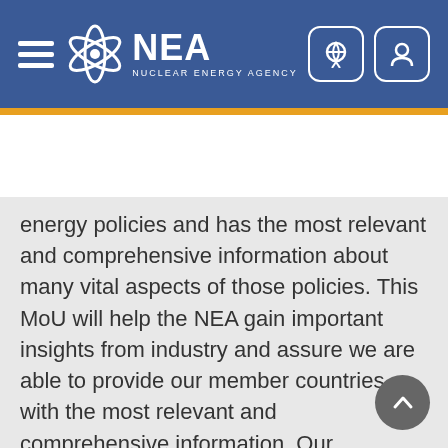NEA NUCLEAR ENERGY AGENCY
[Figure (screenshot): Search bar with magnifying glass icon]
energy policies and has the most relevant and comprehensive information about many vital aspects of those policies. This MoU will help the NEA gain important insights from industry and assure we are able to provide our member countries with the most relevant and comprehensive information. Our interactions with the global industry sector through the World Nuclear Association have over the